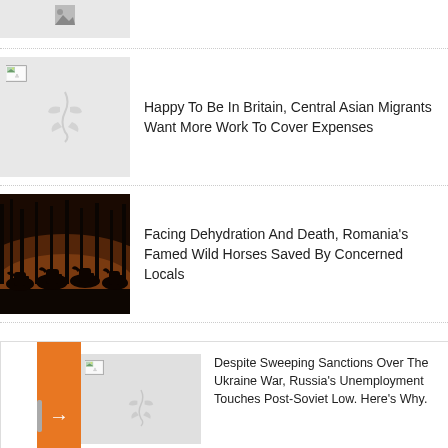[Figure (photo): Partial top news article thumbnail, gray placeholder]
[Figure (photo): Gray placeholder image with broken image icon for Central Asian Migrants article]
Happy To Be In Britain, Central Asian Migrants Want More Work To Cover Expenses
[Figure (photo): Photo of silhouetted wild horses running in a dark forest at dusk]
Facing Dehydration And Death, Romania's Famed Wild Horses Saved By Concerned Locals
[Figure (photo): Gray placeholder image with broken image icon for Russia Unemployment article]
Despite Sweeping Sanctions Over The Ukraine War, Russia's Unemployment Touches Post-Soviet Low. Here's Why.